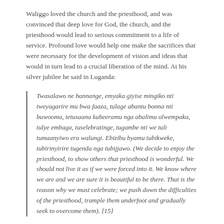Waliggo loved the church and the priesthood, and was convinced that deep love for God, the church, and the priesthood would lead to serious commitment to a life of service. Profound love would help one make the sacrifices that were necessary for the development of vision and ideas that would in turn lead to a crucial liberation of the mind. At his silver jubilee he said in Luganda:
Twasalawo ne bannange, emyaka giyise mingiko nti tweyagarire mu bwa faaza, tulage abantu bonna nti buwooma, tetusaana kubeeramu nga abalimu olwempaka, tulye embaga, tuselebratinge, tugambe nti we tuli tumaanyiwo era walungi. Ebizibu byamu tubikweke, tubirinyirire tugenda nga tubijjawo. (We decide to enjoy the priesthood, to show others that priesthood is wonderful. We should not live it as if we were forced into it. We know where we are and we are sure it is beautiful to be there. That is the reason why we must celebrate; we push down the difficulties of the priesthood, trample them underfoot and gradually seek to overcome them). [15]
Waliggo called for authentic African theologies which could provide a way of understanding faith and of creating principles on which African Christian identity could be constructed. This needed to be a theology that could develop good models and a new language for